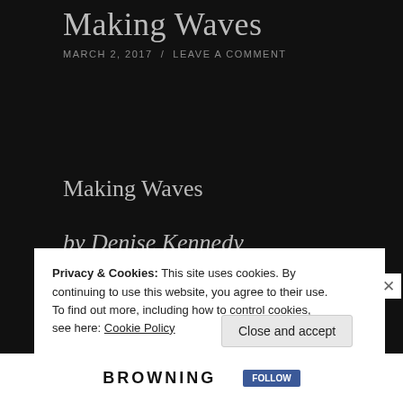Making Waves
MARCH 2, 2017  /  LEAVE A COMMENT
Making Waves
by Denise Kennedy
[Figure (photo): Panoramic ocean photograph showing calm sea water under a wide blue sky with scattered clouds and a distant shoreline on the horizon]
Privacy & Cookies: This site uses cookies. By continuing to use this website, you agree to their use.
To find out more, including how to control cookies, see here: Cookie Policy
Close and accept